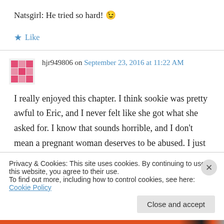Natsgirl: He tried so hard! 😉
★ Like
hjr949806 on September 23, 2016 at 11:22 AM
I really enjoyed this chapter. I think sookie was pretty awful to Eric, and I never felt like she got what she asked for. I know that sounds horrible, and I don't mean a pregnant woman deserves to be abused. I just mean in general
Privacy & Cookies: This site uses cookies. By continuing to use this website, you agree to their use.
To find out more, including how to control cookies, see here: Cookie Policy
Close and accept